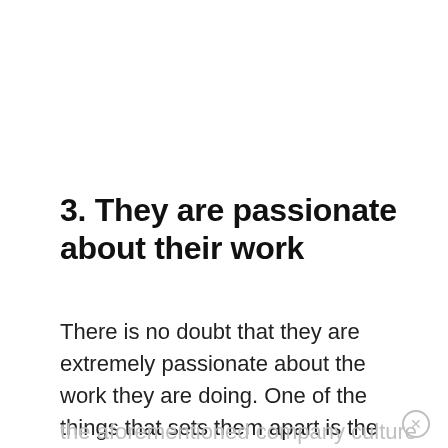3. They are passionate about their work
There is no doubt that they are extremely passionate about the work they are doing. One of the things that sets them apart is the fact that they have created the aforementioned company culture